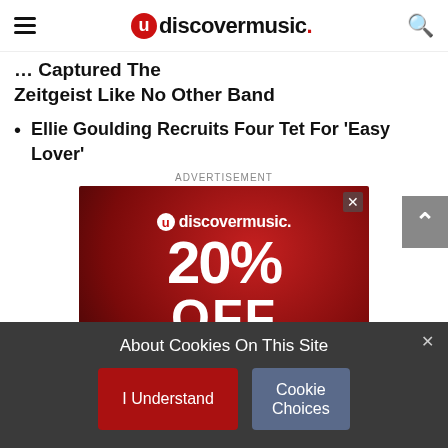udiscovermusic.
... Captured The Zeitgeist Like No Other Band
Ellie Goulding Recruits Four Tet For 'Easy Lover'
ADVERTISEMENT
[Figure (screenshot): uDiscoverMusic advertisement banner: dark red background with vinyl record, showing '20% OFF YOUR FIRST PURCHASE USE CODE: UD20OFF']
About Cookies On This Site
I Understand | Cookie Choices